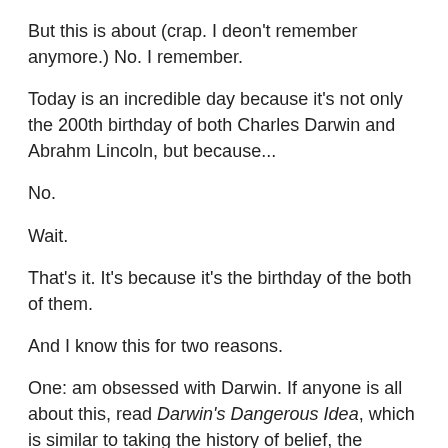But this is about (crap. I deon't remember anymore.) No. I remember.
Today is an incredible day because it's not only the 200th birthday of both Charles Darwin and Abrahm Lincoln, but because...
No.
Wait.
That's it. It's because it's the birthday of the both of them.
And I know this for two reasons.
One: am obsessed with Darwin. If anyone is all about this, read Darwin's Dangerous Idea, which is similar to taking the history of belief, the history of doubt, and the history of science, and smashing them together in this glorious bundle of yummy logic and calling it a book. There are diagrams and love.